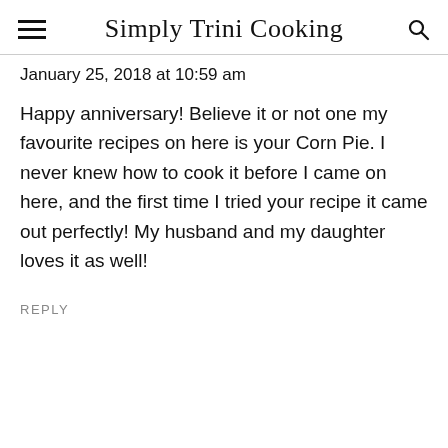Simply Trini Cooking
January 25, 2018 at 10:59 am
Happy anniversary! Believe it or not one my favourite recipes on here is your Corn Pie. I never knew how to cook it before I came on here, and the first time I tried your recipe it came out perfectly! My husband and my daughter loves it as well!
REPLY